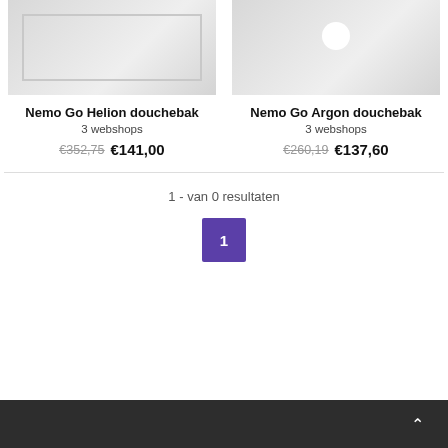[Figure (photo): Nemo Go Helion douchebak product image - white shower tray with rectangular inner border detail]
[Figure (photo): Nemo Go Argon douchebak product image - white shower tray with circular drain hole visible]
Nemo Go Helion douchebak
3 webshops
€352,75  €141,00
Nemo Go Argon douchebak
3 webshops
€260,19  €137,60
1 - van 0 resultaten
1
^